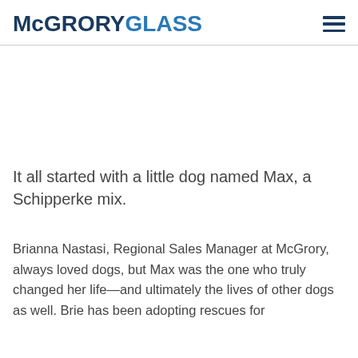McGRORYGLASS
It all started with a little dog named Max, a Schipperke mix.
Brianna Nastasi, Regional Sales Manager at McGrory, always loved dogs, but Max was the one who truly changed her life—and ultimately the lives of other dogs as well. Brie has been adopting rescues for